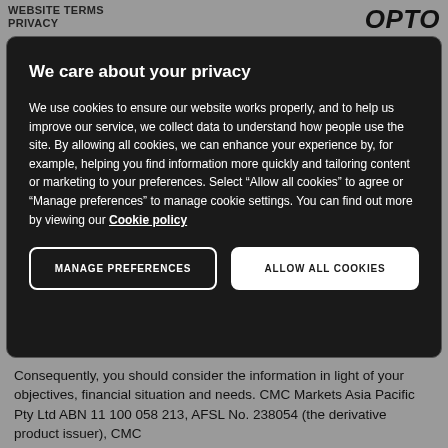WEBSITE TERMS
PRIVACY
OPTO
We care about your privacy
We use cookies to ensure our website works properly, and to help us improve our service, we collect data to understand how people use the site. By allowing all cookies, we can enhance your experience by, for example, helping you find information more quickly and tailoring content or marketing to your preferences. Select “Allow all cookies” to agree or “Manage preferences” to manage cookie settings. You can find out more by viewing our Cookie policy
MANAGE PREFERENCES
ALLOW ALL COOKIES
Consequently, you should consider the information in light of your objectives, financial situation and needs. CMC Markets Asia Pacific Pty Ltd ABN 11 100 058 213, AFSL No. 238054 (the derivative product issuer), CMC